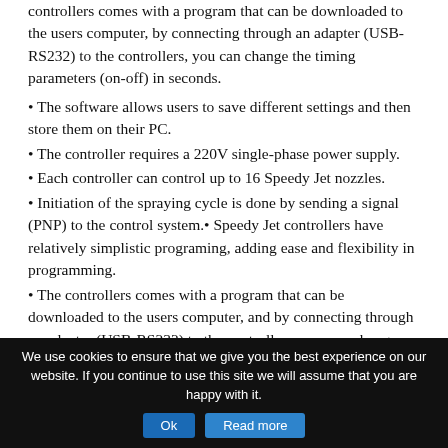controllers comes with a program that can be downloaded to the users computer, by connecting through an adapter (USB-RS232) to the controllers, you can change the timing parameters (on-off) in seconds.
The software allows users to save different settings and then store them on their PC.
The controller requires a 220V single-phase power supply.
Each controller can control up to 16 Speedy Jet nozzles.
Initiation of the spraying cycle is done by sending a signal (PNP) to the control system.• Speedy Jet controllers have relatively simplistic programing, adding ease and flexibility in programming.
The controllers comes with a program that can be downloaded to the users computer, and by connecting through an adapter (USB-RS232) to the controllers, you can change
We use cookies to ensure that we give you the best experience on our website. If you continue to use this site we will assume that you are happy with it.